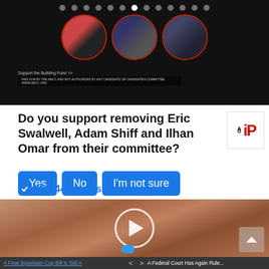[Figure (screenshot): Top banner showing a political advertisement carousel with circular portrait photos of politicians on dark background, with navigation dots above]
Do you support removing Eric Swalwell, Adam Shiff and Ilhan Omar from their committee?
Yes
No
I'm not sure
192,442 Votes
[Figure (photo): Close-up photo of a mouth with tongue extended, showing a blue pill/tablet, with a video play button overlay]
A Final Bipartisan Cup Bill Is Still A ... | A Federal Court Has Again Rule...